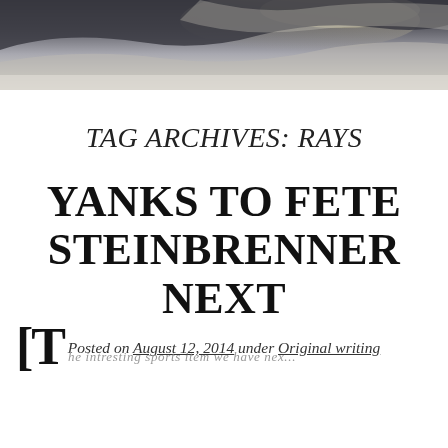[Figure (photo): Sky photo banner showing cloudy sky with light breaking through clouds, dark tones at top]
TAG ARCHIVES: RAYS
YANKS TO FETE STEINBRENNER NEXT
Posted on August 12, 2014 under Original writing